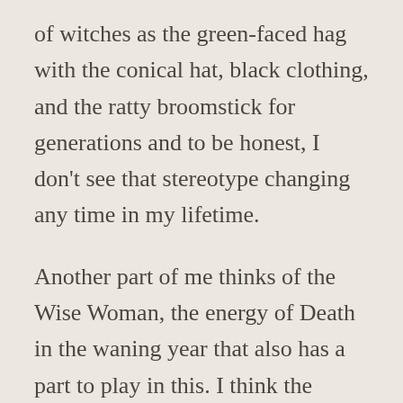of witches as the green-faced hag with the conical hat, black clothing, and the ratty broomstick for generations and to be honest, I don't see that stereotype changing any time in my lifetime.
Another part of me thinks of the Wise Woman, the energy of Death in the waning year that also has a part to play in this. I think the image is a mixture of many things, rooted in ancient beliefs and understandings and colored over with events that took place in our history. This image isn't just there for